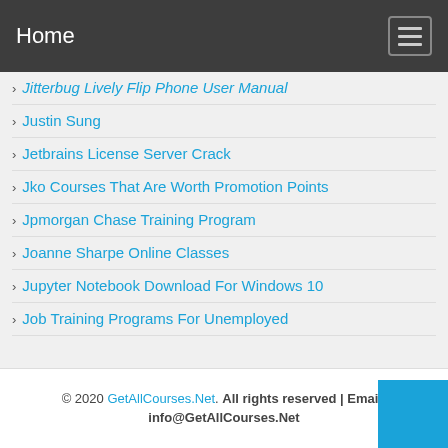Home
Jitterbug Lively Flip Phone User Manual
Justin Sung
Jetbrains License Server Crack
Jko Courses That Are Worth Promotion Points
Jpmorgan Chase Training Program
Joanne Sharpe Online Classes
Jupyter Notebook Download For Windows 10
Job Training Programs For Unemployed
© 2020 GetAllCourses.Net. All rights reserved | Email: info@GetAllCourses.Net